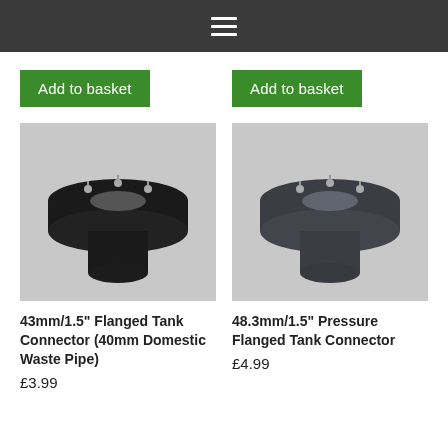Navigation bar with hamburger menu icon
[Figure (other): Green 'Add to basket' button for first product]
[Figure (photo): Photo of 43mm/1.5 inch Flanged Tank Connector (40mm Domestic Waste Pipe) - a black plastic flanged pipe fitting with screws on top flange]
43mm/1.5" Flanged Tank Connector (40mm Domestic Waste Pipe)
£3.99
[Figure (other): Green 'Add to basket' button for second product]
[Figure (photo): Photo of 48.3mm/1.5 inch Pressure Flanged Tank Connector - a dark grey plastic flanged pipe fitting with screws on top flange]
48.3mm/1.5" Pressure Flanged Tank Connector
£4.99